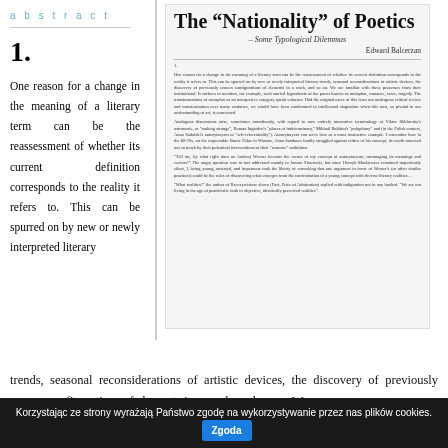abstract
1.
One reason for a change in the meaning of a literary term can be the reassessment of whether its current definition corresponds to the reality it refers to. This can be spurred on by new or newly interpreted literary trends, seasonal reconsiderations of artistic devices, the discovery of previously unseen configurations of elements in a work, and so on. We
[Figure (screenshot): Thumbnail image of the article page showing title 'The "Nationality" of Poetics – Some Typological Dilemmas' by Edward Balcerzan with body text paragraphs]
Korzystając ze strony wyrażają Państwo zgodę na wykorzystywanie przez nas plików cookies. Zgoda